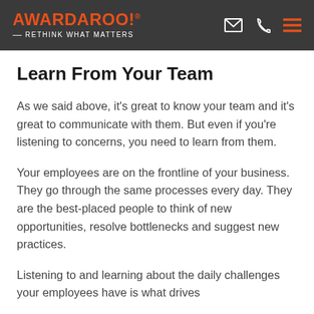AWARDAROO! RETHINK WHAT MATTERS
Learn From Your Team
As we said above, it's great to know your team and it's great to communicate with them. But even if you're listening to concerns, you need to learn from them.
Your employees are on the frontline of your business. They go through the same processes every day. They are the best-placed people to think of new opportunities, resolve bottlenecks and suggest new practices.
Listening to and learning about the daily challenges your employees have is what drives